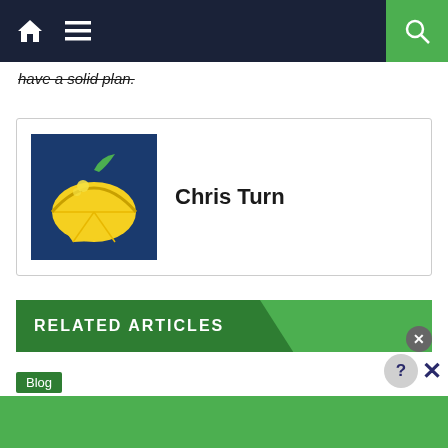Navigation bar with home, menu, and search icons
have a solid plan.
[Figure (logo): Author card for Chris Turn with lemon logo on dark blue background]
RELATED ARTICLES
Blog
Contact
May 1, 2019   georgettegayner